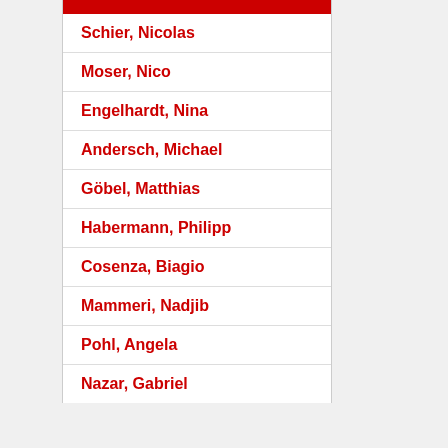Schier, Nicolas
Moser, Nico
Engelhardt, Nina
Andersch, Michael
Göbel, Matthias
Habermann, Philipp
Cosenza, Biagio
Mammeri, Nadjib
Pohl, Angela
Nazar, Gabriel